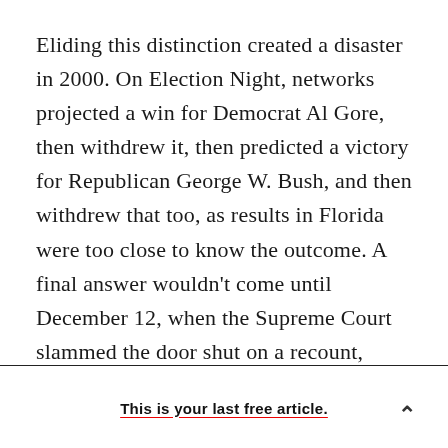Eliding this distinction created a disaster in 2000. On Election Night, networks projected a win for Democrat Al Gore, then withdrew it, then predicted a victory for Republican George W. Bush, and then withdrew that too, as results in Florida were too close to know the outcome. A final answer wouldn't come until December 12, when the Supreme Court slammed the door shut on a recount, ensuring that Bush's lead in Florida would stand, and thus that he would be president.

The mess of the 2000 election in Florida—butterfly
This is your last free article.